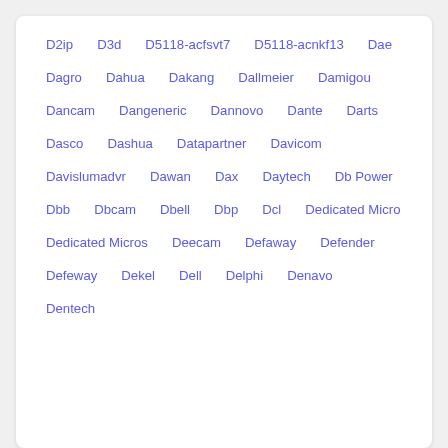D2ip  D3d  D5118-acfsvt7  D5118-acnkf13  Dae  Dagro  Dahua  Dakang  Dallmeier  Damigou  Dancam  Dangeneric  Dannovo  Dante  Darts  Dasco  Dashua  Datapartner  Davicom  Davislumadvr  Dawan  Dax  Daytech  Db Power  Dbb  Dbcam  Dbell  Dbp  Dcl  Dedicated Micro  Dedicated Micros  Deecam  Defaway  Defender  Defeway  Dekel  Dell  Delphi  Denavo  Dentech